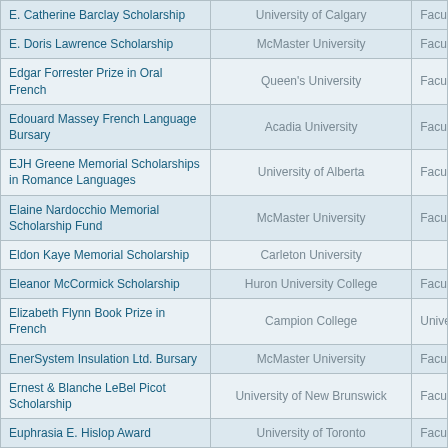| Scholarship Name | University | Faculty/Type |
| --- | --- | --- |
| E. Catherine Barclay Scholarship | University of Calgary | Facult… |
| E. Doris Lawrence Scholarship | McMaster University | Facult… |
| Edgar Forrester Prize in Oral French | Queen's University | Facult… |
| Edouard Massey French Language Bursary | Acadia University | Facult… |
| EJH Greene Memorial Scholarships in Romance Languages | University of Alberta | Facult… |
| Elaine Nardocchio Memorial Scholarship Fund | McMaster University | Facult… |
| Eldon Kaye Memorial Scholarship | Carleton University |  |
| Eleanor McCormick Scholarship | Huron University College | Facult… Scienc… |
| Elizabeth Flynn Book Prize in French | Campion College | Univer… Arts |
| EnerSystem Insulation Ltd. Bursary | McMaster University | Facult… |
| Ernest & Blanche LeBel Picot Scholarship | University of New Brunswick | Facult… |
| Euphrasia E. Hislop Award | University of Toronto | Facult… |
| Everett & Maude Coldwell Memorial Scholarship | Acadia University |  |